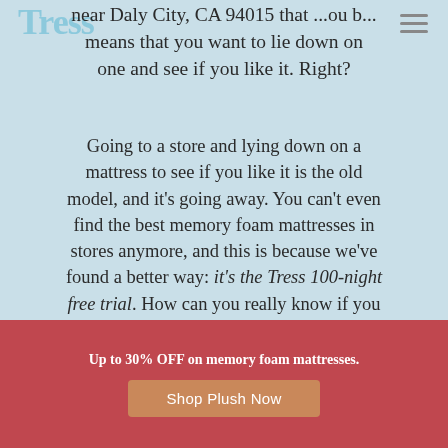[Figure (logo): Tress brand logo in light blue, partially visible in top left corner]
near Daly City, CA 94015 that ...ou b... means that you want to lie down on one and see if you like it. Right?
Going to a store and lying down on a mattress to see if you like it is the old model, and it's going away. You can't even find the best memory foam mattresses in stores anymore, and this is because we've found a better way: it's the Tress 100-night free trial. How can you really know if you
Up to 30% OFF on memory foam mattresses.
Shop Plush Now